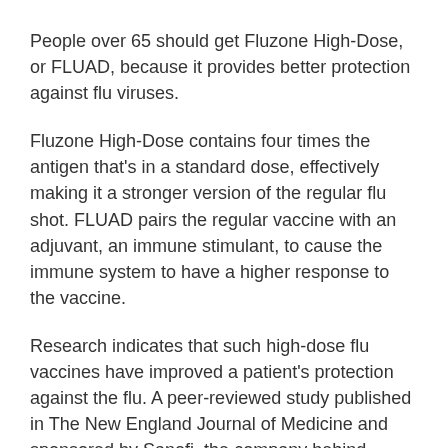People over 65 should get Fluzone High-Dose, or FLUAD, because it provides better protection against flu viruses.
Fluzone High-Dose contains four times the antigen that's in a standard dose, effectively making it a stronger version of the regular flu shot. FLUAD pairs the regular vaccine with an adjuvant, an immune stimulant, to cause the immune system to have a higher response to the vaccine.
Research indicates that such high-dose flu vaccines have improved a patient's protection against the flu. A peer-reviewed study published in The New England Journal of Medicine and sponsored by Sanofi, the company behind Fluzone High-Dose, found the high-dose vaccine is about 24% more effective than the standard shot in preventing the flu.
An observational study in 2013 found FLUAD is 51% effective